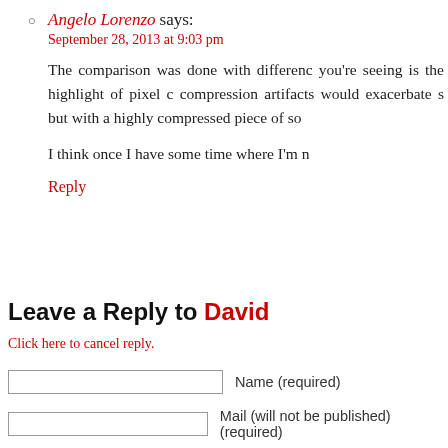Angelo Lorenzo says: September 28, 2013 at 9:03 pm
The comparison was done with differenc you're seeing is the highlight of pixel c compression artifacts would exacerbate s but with a highly compressed piece of so
I think once I have some time where I'm n
Reply
Leave a Reply to David
Click here to cancel reply.
Name (required)
Mail (will not be published) (required)